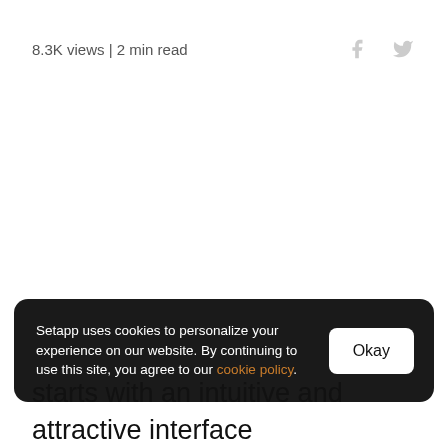8.3K views | 2 min read
We hear you. And not only that, but we truly listen to you.
Setapp uses cookies to personalize your experience on our website. By continuing to use this site, you agree to our cookie policy.
starts with an intuitive and attractive interface